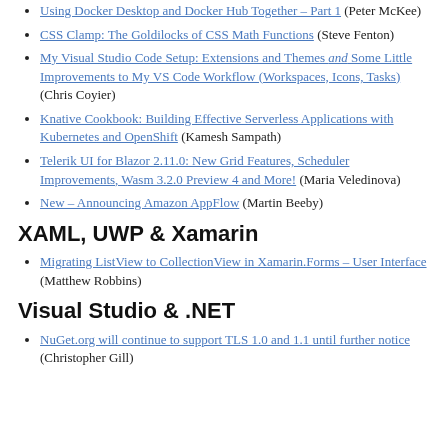Using Docker Desktop and Docker Hub Together – Part 1 (Peter McKee)
CSS Clamp: The Goldilocks of CSS Math Functions (Steve Fenton)
My Visual Studio Code Setup: Extensions and Themes and Some Little Improvements to My VS Code Workflow (Workspaces, Icons, Tasks) (Chris Coyier)
Knative Cookbook: Building Effective Serverless Applications with Kubernetes and OpenShift (Kamesh Sampath)
Telerik UI for Blazor 2.11.0: New Grid Features, Scheduler Improvements, Wasm 3.2.0 Preview 4 and More! (Maria Veledinova)
New – Announcing Amazon AppFlow (Martin Beeby)
XAML, UWP & Xamarin
Migrating ListView to CollectionView in Xamarin.Forms – User Interface (Matthew Robbins)
Visual Studio & .NET
NuGet.org will continue to support TLS 1.0 and 1.1 until further notice (Christopher Gill)